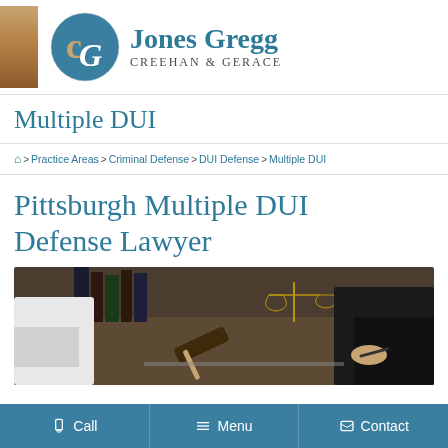[Figure (logo): Jones Gregg Creehan & Gerace law firm logo with circular CG monogram in teal and gold]
Multiple DUI
🏠 > Practice Areas > Criminal Defense > DUI Defense > Multiple DUI
Pittsburgh Multiple DUI Defense Lawyer
[Figure (photo): Courtroom/legal consultation photo showing a gavel, scales of justice, law books, and two people at a desk]
Call  Menu  Contact